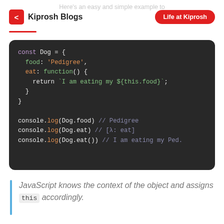Kiprosh Blogs | Life at Kiprosh
Here's an easy and simple example to start with...
[Figure (screenshot): Dark-themed code editor showing a JavaScript object literal 'const Dog' with food property set to 'Pedigree', an eat method returning a template literal, and three console.log statements demonstrating property and method access.]
JavaScript knows the context of the object and assigns this accordingly.